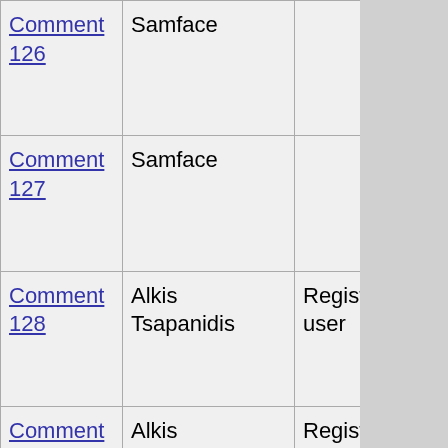| Comment | Author | Role | Date |
| --- | --- | --- | --- |
| Comment 126 | Samface |  | 03-Jun-2003 17:44 GMT |
| Comment 127 | Samface |  | 03-Jun-2003 17:47 GMT |
| Comment 128 | Alkis Tsapanidis | Registered user | 03-Jun-2003 17:58 GMT |
| Comment 129 | Alkis Tsapanidis | Registered user | 03-Jun-2003 18:08 GMT |
| Comment 130 | Anonymous |  | 03-Jun-2003 18:47 GMT |
| Comment 131 |  |  | 03- |